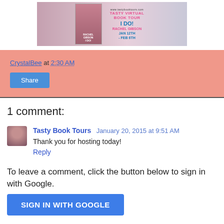[Figure (illustration): Tasty Virtual Book Tour banner for 'I Do!' by Rachel Gibson, Jan 12th - Feb 6th, with two women in white dresses]
CrystalBee at 2:30 AM
Share
1 comment:
Tasty Book Tours January 20, 2015 at 9:51 AM
Thank you for hosting today!
Reply
To leave a comment, click the button below to sign in with Google.
SIGN IN WITH GOOGLE